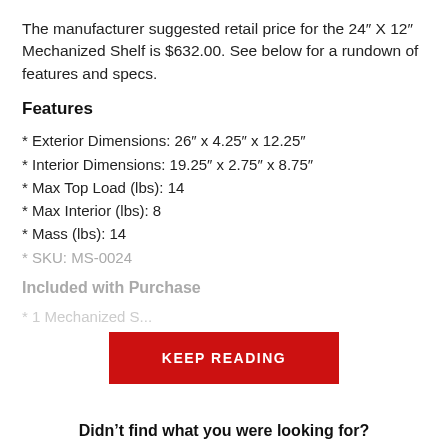The manufacturer suggested retail price for the 24″ X 12″ Mechanized Shelf is $632.00. See below for a rundown of features and specs.
Features
* Exterior Dimensions: 26″ x 4.25″ x 12.25″
* Interior Dimensions: 19.25″ x 2.75″ x 8.75″
* Max Top Load (lbs): 14
* Max Interior (lbs): 8
* Mass (lbs): 14
* SKU: MS-0024
Included with Purchase
* 1 Mechanized...
KEEP READING
Didn’t find what you were looking for?